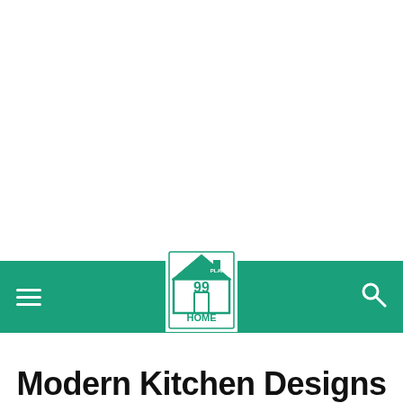99 Home Plans navigation bar with hamburger menu, logo, and search icon
Modern Kitchen Designs Royal Red Color Kitchen...